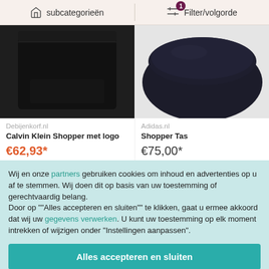subcategorieën   Filter/volgorde (1)
[Figure (photo): Product photo of a black Calvin Klein shopper bag on white background]
Debijenkorf.nl
Calvin Klein Shopper met logo
€62,93*
[Figure (photo): Product photo of a black Adidas shopper tas bag on white background]
Adidas.nl
Shopper Tas
€75,00*
Wij en onze partners gebruiken cookies om inhoud en advertenties op u af te stemmen. Wij doen dit op basis van uw toestemming of gerechtvaardig belang.
Door op ""Alles accepteren en sluiten"" te klikken, gaat u ermee akkoord dat wij uw gegevens verwerken. U kunt uw toestemming op elk moment intrekken of wijzigen onder "Instellingen aanpassen".
Alles accepteren en sluiten
Instellingen aanpassen
Alles weigeren